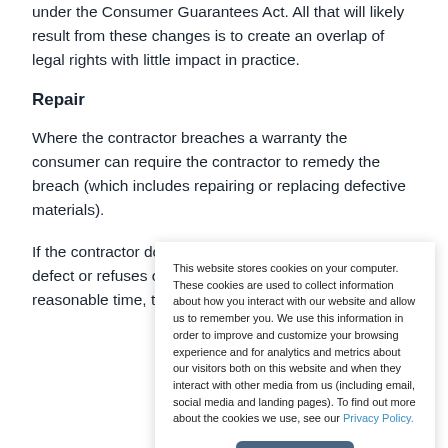under the Consumer Guarantees Act. All that will likely result from these changes is to create an overlap of legal rights with little impact in practice.
Repair
Where the contractor breaches a warranty the consumer can require the contractor to remedy the breach (which includes repairing or replacing defective materials).
If the contractor does not succeed in remedying the defect or refuses or neglects to do so within a reasonable time, the
This website stores cookies on your computer. These cookies are used to collect information about how you interact with our website and allow us to remember you. We use this information in order to improve and customize your browsing experience and for analytics and metrics about our visitors both on this website and when they interact with other media from us (including email, social media and landing pages). To find out more about the cookies we use, see our Privacy Policy.
Accept